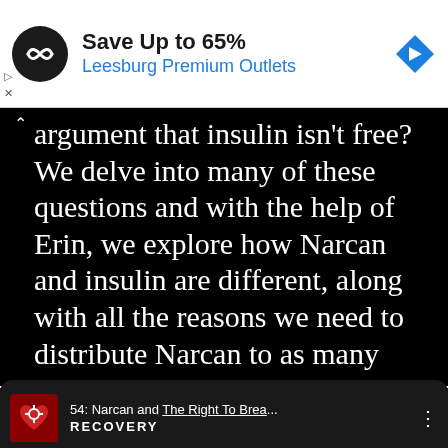[Figure (screenshot): Advertisement banner showing a circular black logo with infinity-like symbol, bold text 'Save Up to 65%' and blue text 'Leesburg Premium Outlets', with a blue diamond navigation icon on the right]
argument that insulin isn't free? We delve into many of these questions and with the help of Erin, we explore how Narcan and insulin are different, along with all the reasons we need to distribute Narcan to as many people as possible.
54: Narcan and The Right To Brea...
RECOVERY